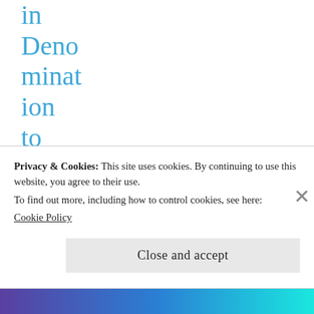in Denomination to Appoint Openly Lesb
Privacy & Cookies: This site uses cookies. By continuing to use this website, you agree to their use.
To find out more, including how to control cookies, see here:
Cookie Policy
Close and accept